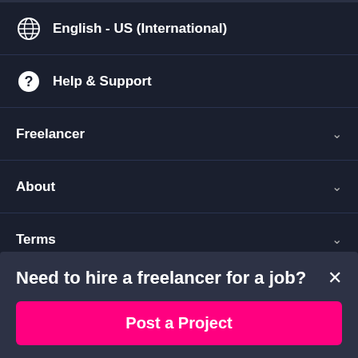English - US (International)
Help & Support
Freelancer
About
Terms
Need to hire a freelancer for a job?
Post a Project